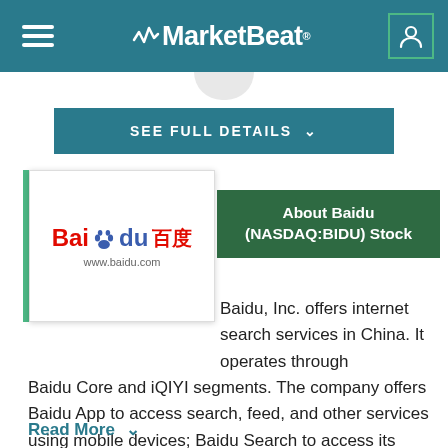MarketBeat
SEE FULL DETAILS
[Figure (logo): Baidu logo with red 'Bai', blue paw print, blue 'du', Chinese characters, and www.baidu.com URL]
About Baidu (NASDAQ:BIDU) Stock
Baidu, Inc. offers internet search services in China. It operates through Baidu Core and iQIYI segments. The company offers Baidu App to access search, feed, and other services using mobile devices; Baidu Search to access its search and other services; Baidu Feed that provides users with personalized timeline based on their demographics and interests; and Haokan, a short video app. It also provides Baidu Knows, an online community where use...
Read More